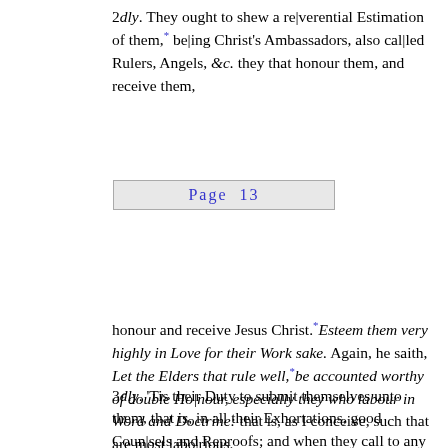2dly. They ought to shew a re|verential Estimation of them,* be|ing Christ's Ambassadors, also cal|led Rulers, Angels, &c. they that honour them, and receive them,
Page  13
honour and receive Jesus Christ.* Esteem them very highly in Love for their Work sake. Again, he saith, Let the Elders that rule well,* be accounted worthy of double Ho|nour, especially they who labour in Word and Doctrine: that is, as I conceive, such that are most labo|rious.
3dly. 'Tis their Duty to submit themselves unto them, that is, in all their Exhortations, good Coun|sels and Reproofs; and when they call to any extraordinary Duty, as Prayer, Fasting, or days of Thanksgiving, if they see no just cause why such days should not be kept, they ought to obey their Pastor or Elder, as in other cases